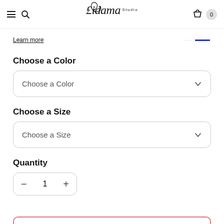Studio Lirdana — navigation bar with menu, search, logo, cart (0)
Learn more
Choose a Color
Choose a Color (dropdown)
Choose a Size
Choose a Size (dropdown)
Quantity
− 1 +